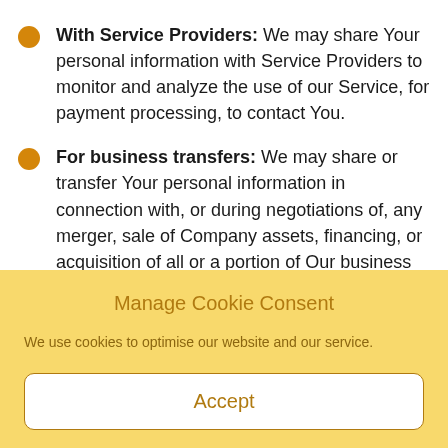With Service Providers: We may share Your personal information with Service Providers to monitor and analyze the use of our Service, for payment processing, to contact You.
For business transfers: We may share or transfer Your personal information in connection with, or during negotiations of, any merger, sale of Company assets, financing, or acquisition of all or a portion of Our business to another company.
With Affiliates: We may share Your information with
Manage Cookie Consent
We use cookies to optimise our website and our service.
Accept